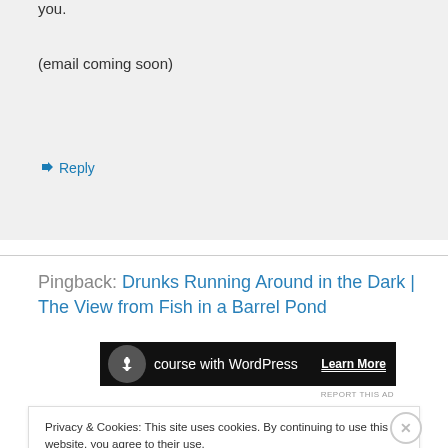you.
(email coming soon)
↳ Reply
Pingback: Drunks Running Around in the Dark | The View from Fish in a Barrel Pond
[Figure (screenshot): Dark advertisement banner for a WordPress course with a circular icon, 'course with WordPress' text, and 'Learn More' link]
REPORT THIS AD
Privacy & Cookies: This site uses cookies. By continuing to use this website, you agree to their use.
To find out more, including how to control cookies, see here: Cookie Policy
Close and accept